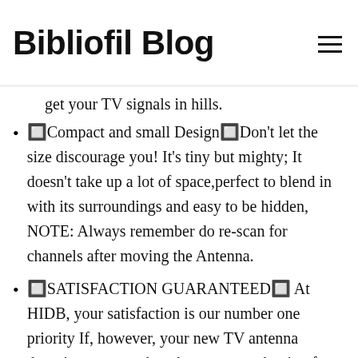Bibliofil Blog
get your TV signals in hills.
🔲Compact and small Design🔲Don't let the size discourage you! It's tiny but mighty; It doesn't take up a lot of space,perfect to blend in with its surroundings and easy to be hidden, NOTE: Always remember do re-scan for channels after moving the Antenna.
🔲SATISFACTION GUARANTEED🔲 At HIDB, your satisfaction is our number one priority If, however, your new TV antenna doesn't turn out to be what you were hoping for, don't worry!
I...